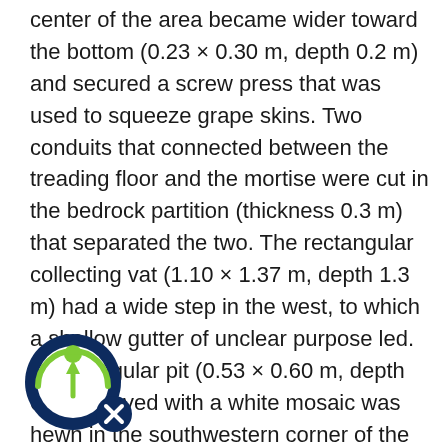center of the area became wider toward the bottom (0.23 × 0.30 m, depth 0.2 m) and secured a screw press that was used to squeeze grape skins. Two conduits that connected between the treading floor and the mortise were cut in the bedrock partition (thickness 0.3 m) that separated the two. The rectangular collecting vat (1.10 × 1.37 m, depth 1.3 m) had a wide step in the west, to which a shallow gutter of unclear purpose led. A rectangular pit (0.53 × 0.60 m, depth 0.2 m) paved with a white mosaic was hewn in the southwestern corner of the vat's floor. Traces of plaster on the walls of the collecting vat were embedded with potsherds from the Roman period, indicating the date of the winepress.
[Figure (logo): Circular logo with a figure/arrow icon inside a ring, dark navy blue outer ring with a smaller circle, and a separate overlapping smaller circle with an X symbol, in green and navy colors.]